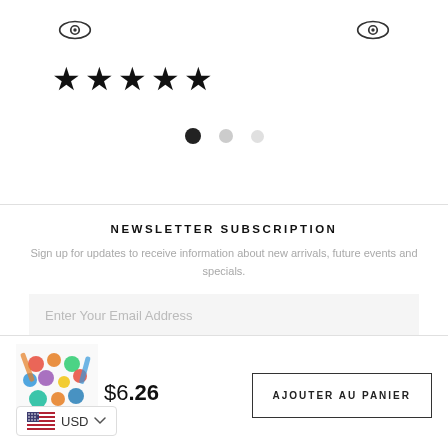[Figure (illustration): Two eye/watch icons at top, five black stars below, then three pagination dots (one filled black, two gray)]
NEWSLETTER SUBSCRIPTION
Sign up for updates to receive information about new arrivals, future events and specials.
Enter Your Email Address
[Figure (photo): Product image: art/craft kit with colorful paint dots and brushes]
$6.26
USD
AJOUTER AU PANIER